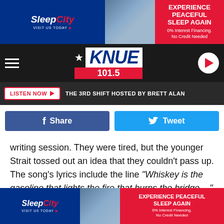[Figure (screenshot): Sleep City advertisement banner - blue left section with logo, photo of mattresses in middle, red right section with EXPERIENCE PEACEFUL SLEEP AGAIN headline]
[Figure (logo): KNUE 101.5 radio station header with hamburger menu, star logo, KNUE 101.5 branding in blue/red/white, and play button]
LISTEN NOW ► THE 3RD SHIFT HOSTED BY BRETT ALAN
[Figure (infographic): Facebook Share button (blue) and Twitter Tweet button (light blue)]
writing session. They were tired, but the younger Strait tossed out an idea that they couldn't pass up. The song's lyrics include the line "Whiskey is the gasoline that lights the fire that burns the bridge ..."
"God and Country Music," meanwhile, brings a slow and more lonesome sound. The tune name-drops famous country
[Figure (screenshot): Sleep City advertisement banner at bottom - same as top ad]